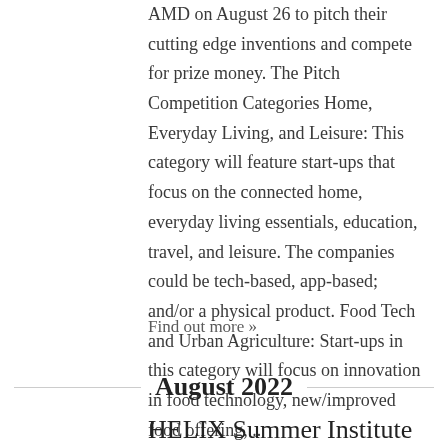AMD on August 26 to pitch their cutting edge inventions and compete for prize money. The Pitch Competition Categories Home, Everyday Living, and Leisure: This category will feature start-ups that focus on the connected home, everyday living essentials, education, travel, and leisure. The companies could be tech-based, app-based; and/or a physical product. Food Tech and Urban Agriculture: Start-ups in this category will focus on innovation in food technology, new/improved food offering,...
Find out more »
August 2022
HELIX Summer Institute